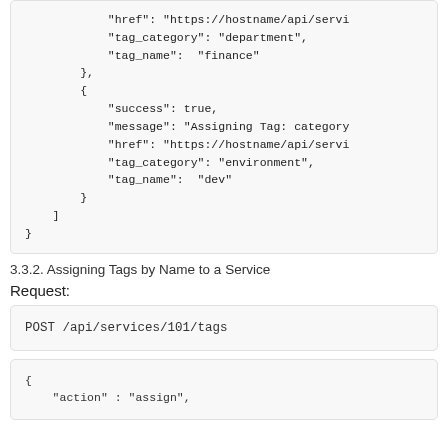"href": "https://hostname/api/servi...",
"tag_category": "department",
"tag_name": "finance"
},
{
"success": true,
"message": "Assigning Tag: category...",
"href": "https://hostname/api/servi...",
"tag_category": "environment",
"tag_name": "dev"
}
]
}
3.3.2. Assigning Tags by Name to a Service
Request:
POST /api/services/101/tags
{
"action" : "assign",